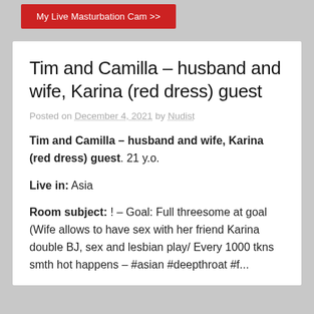[Figure (other): Red button banner: 'My Live Masturbation Cam >>']
Tim and Camilla – husband and wife, Karina (red dress) guest
Posted on December 4, 2021 by Nudist
Tim and Camilla – husband and wife, Karina (red dress) guest. 21 y.o.
Live in: Asia
Room subject: ! – Goal: Full threesome at goal (Wife allows to have sex with her friend Karina double BJ, sex and lesbian play/ Every 1000 tkns smth hot happens – #asian #deepthroat #f...